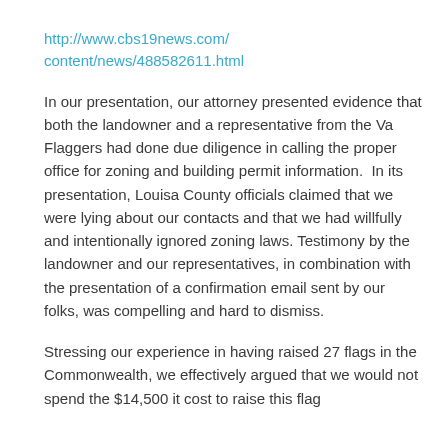http://www.cbs19news.com/content/news/488582611.html
In our presentation, our attorney presented evidence that both the landowner and a representative from the Va Flaggers had done due diligence in calling the proper office for zoning and building permit information.  In its presentation, Louisa County officials claimed that we were lying about our contacts and that we had willfully and intentionally ignored zoning laws. Testimony by the landowner and our representatives, in combination with the presentation of a confirmation email sent by our folks, was compelling and hard to dismiss.
Stressing our experience in having raised 27 flags in the Commonwealth, we effectively argued that we would not spend the $14,500 it cost to raise this flag...